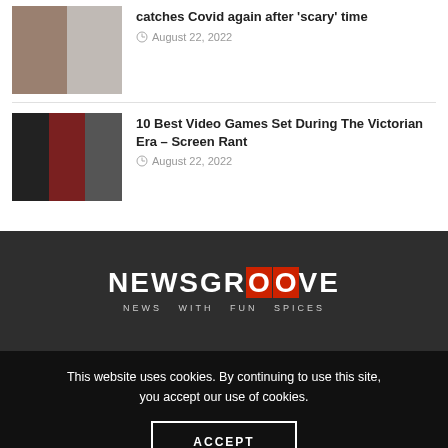[Figure (photo): Thumbnail of a person and someone wearing a mask]
catches Covid again after 'scary' time
August 22, 2022
[Figure (photo): Thumbnail with multiple characters from what appears to be a Victorian-era themed film or game]
10 Best Video Games Set During The Victorian Era – Screen Rant
August 22, 2022
[Figure (logo): NEWSGROOVE logo with tagline NEWS WITH FUN SPICES on dark background]
This website uses cookies. By continuing to use this site, you accept our use of cookies.